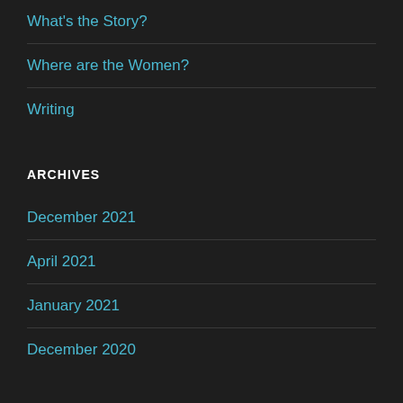What's the Story?
Where are the Women?
Writing
ARCHIVES
December 2021
April 2021
January 2021
December 2020